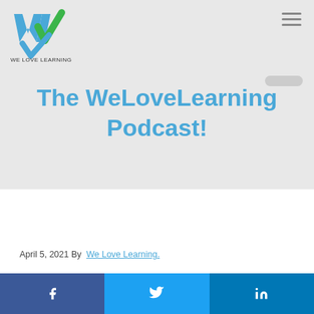[Figure (logo): We Love Learning logo with stylized W in blue and green with text WE LOVE LEARNING]
The WeLoveLearning Podcast!
April 5, 2021 By We Love Learning.
[Figure (infographic): Social share buttons: Facebook (f), Twitter (bird), LinkedIn (in)]